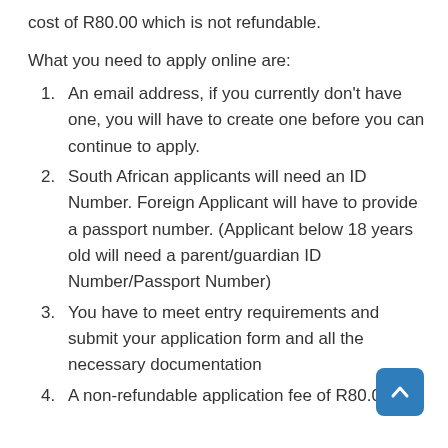cost of R80.00 which is not refundable.
What you need to apply online are:
An email address, if you currently don't have one, you will have to create one before you can continue to apply.
South African applicants will need an ID Number. Foreign Applicant will have to provide a passport number. (Applicant below 18 years old will need a parent/guardian ID Number/Passport Number)
You have to meet entry requirements and submit your application form and all the necessary documentation
A non-refundable application fee of R80.00 is